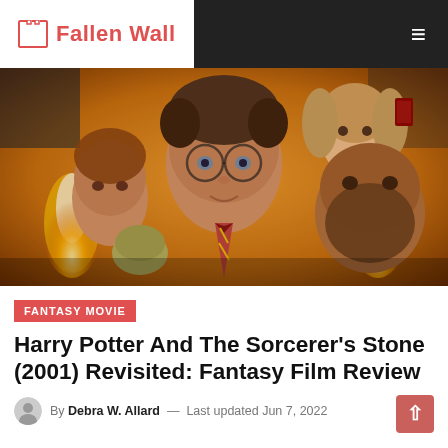Fallen Wall
[Figure (photo): Harry Potter and the Sorcerer's Stone (2001) movie promotional poster featuring Harry Potter (Daniel Radcliffe) in the center with round glasses, flanked by Ron Weasley on the left, Hermione Granger on the upper right, and Hagrid with a goblin on the right. Flames visible on both sides against a warm orange/gold background.]
FANTASY MOVIE
Harry Potter And The Sorcerer's Stone (2001) Revisited: Fantasy Film Review
By Debra W. Allard — Last updated Jun 7, 2022